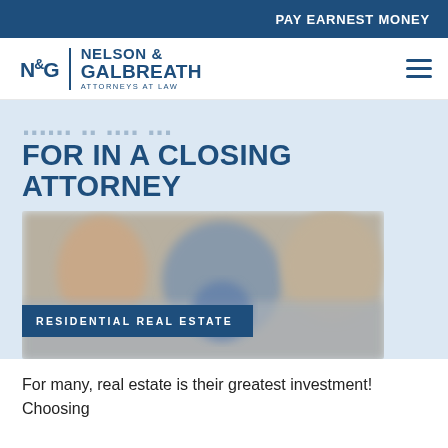PAY EARNEST MONEY
[Figure (logo): Nelson & Galbreath Attorneys at Law logo with N&G monogram and vertical divider]
FOR IN A CLOSING ATTORNEY
[Figure (photo): Blurred photograph of people at a real estate closing meeting with overlay label RESIDENTIAL REAL ESTATE]
For many, real estate is their greatest investment! Choosing